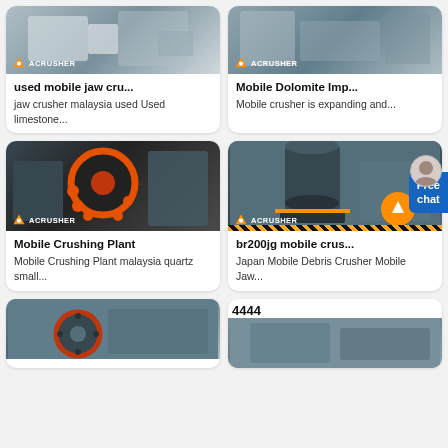[Figure (photo): Acrusher branded used mobile jaw crusher machine, gray/white tones]
used mobile jaw cru...
jaw crusher malaysia used Used limestone...
[Figure (photo): Acrusher branded Mobile Dolomite Impact crusher in warehouse]
Mobile Dolomite Imp...
Mobile crusher is expanding and...
[Figure (photo): Acrusher branded Mobile Crushing Plant with large orange flywheel]
Mobile Crushing Plant
Mobile Crushing Plant malaysia quartz small...
[Figure (photo): Acrusher branded br200jg mobile crusher vertical mill in warehouse]
br200jg mobile crus...
Japan Mobile Debris Crusher Mobile Jaw...
[Figure (photo): Crusher machine with orange/red flywheel in industrial shed]
4444
[Figure (photo): Industrial crusher machine in factory setting]